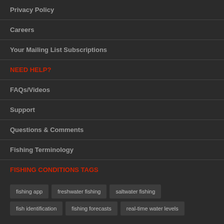Privacy Policy
Careers
Your Mailing List Subscriptions
NEED HELP?
FAQs/Videos
Support
Questions & Comments
Fishing Terminology
FISHING CONDITIONS TAGS
fishing app
freshwater fishing
saltwater fishing
fish identification
fishing forecasts
real-time water levels